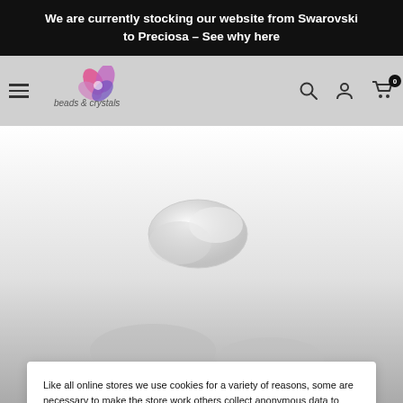We are currently stocking our website from Swarovski to Preciosa - See why here
[Figure (logo): Beads & Crystals logo with flower/butterfly graphic in pink and purple]
[Figure (photo): Product photo of crystal beads, grayscale background]
Like all online stores we use cookies for a variety of reasons, some are necessary to make the store work others collect anonymous data to help us develop the business. By pressing the accept button you are agreeing to us using cookies. To view our privacy policy click here
Accept